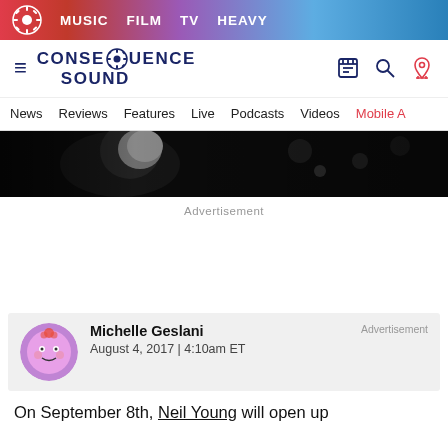MUSIC  FILM  TV  HEAVY
[Figure (logo): Consequence of Sound logo with gear icon]
News  Reviews  Features  Live  Podcasts  Videos  Mobile A
[Figure (photo): Black and white hero image strip]
Advertisement
[Figure (photo): Author avatar - cartoon pink character]
Michelle Geslani
August 4, 2017 | 4:10am ET
Advertisement
On September 8th, Neil Young will open up